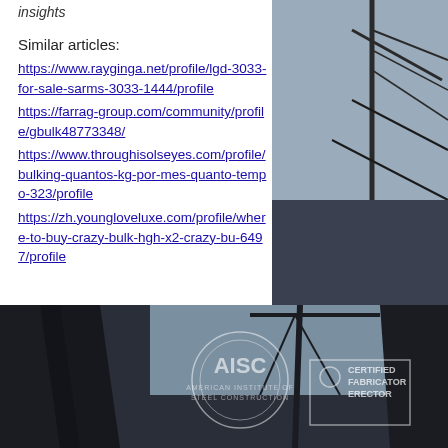insights
Similar articles:
https://www.rayginga.net/profile/lgd-3033-for-sale-sarms-3033-1444/profile
https://farrag-group.com/community/profile/gbulk48773348/
https://www.throughisolseyes.com/profile/bulking-quantos-kg-por-mes-quanto-tempo-323/profile
https://zh.youngloveluxe.com/profile/where-to-buy-crazy-bulk-hgh-x2-crazy-bu-6497/profile
[Figure (photo): Construction photo showing steel beams and crane against grey sky, right side panel]
[Figure (photo): Construction site photo with AISC Certified Fabricator Erector logo watermark, steel structure and crane visible]